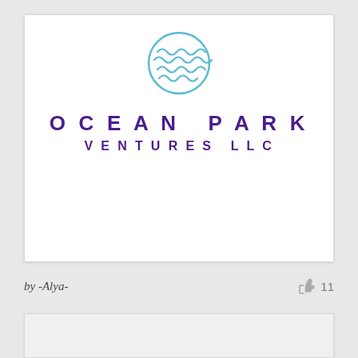[Figure (logo): Ocean Park Ventures LLC logo: circular emblem with blue wave lines, company name in purple spaced letters below]
by -Alya-
11